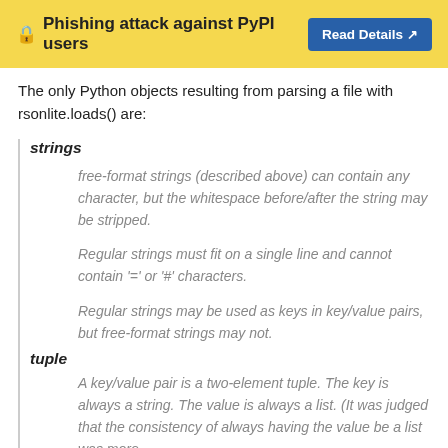🔒 Phishing attack against PyPI users  Read Details ↗
The only Python objects resulting from parsing a file with rsonlite.loads() are:
strings — free-format strings (described above) can contain any character, but the whitespace before/after the string may be stripped.

Regular strings must fit on a single line and cannot contain '=' or '#' characters.

Regular strings may be used as keys in key/value pairs, but free-format strings may not.
tuple — A key/value pair is a two-element tuple. The key is always a string. The value is always a list. (It was judged that the consistency of always having the value be a list was more